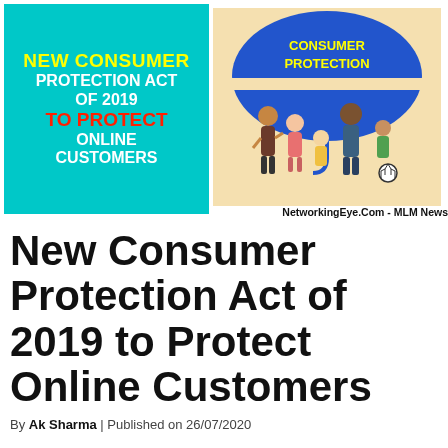[Figure (illustration): Two-panel promotional image. Left panel: teal/cyan background with bold text reading 'NEW CONSUMER PROTECTION ACT OF 2019 TO PROTECT ONLINE CUSTOMERS' in yellow, white, and red. Right panel: cartoon illustration of a family standing under a large blue umbrella labeled 'CONSUMER PROTECTION', on a cream/beige background. Caption: NetworkingEye.Com - MLM News]
NetworkingEye.Com - MLM News
New Consumer Protection Act of 2019 to Protect Online Customers
By Ak Sharma | Published on 26/07/2020